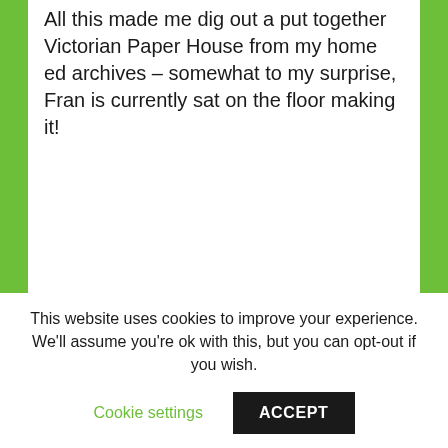All this made me dig out a put together Victorian Paper House from my home ed archives – somewhat to my surprise, Fran is currently sat on the floor making it!
This website uses cookies to improve your experience. We'll assume you're ok with this, but you can opt-out if you wish.
Cookie settings
ACCEPT